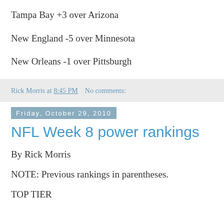Tampa Bay +3 over Arizona
New England -5 over Minnesota
New Orleans -1 over Pittsburgh
Rick Morris at 8:45 PM   No comments:
Friday, October 29, 2010
NFL Week 8 power rankings
By Rick Morris
NOTE: Previous rankings in parentheses.
TOP TIER